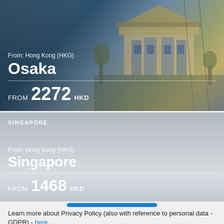[Figure (photo): Osaka travel card with photo of Japanese castle/temple architecture against blue sky, showing flight offer from Hong Kong (HKG) to Osaka from 2272 HKD]
From: Hong Kong (HKG)
Osaka
FROM 2272 HKD
[Figure (photo): Singapore travel card with grey gradient background showing flight offer from Hong Kong (HKG) to Singapore from 1468 HKD]
SINGAPORE
From: Hong Kong (HKG)
Singapore
FROM 1468 HKD
Learn more about Privacy Policy (also with reference to personal data - GDPR) - here.
Accept